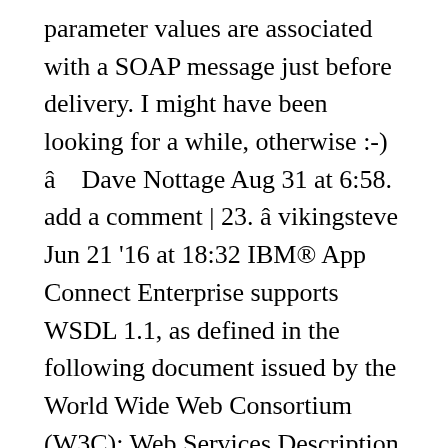parameter values are associated with a SOAP message just before delivery. I might have been looking for a while, otherwise :-) â    Dave Nottage Aug 31 at 6:58. add a comment | 23. â vikingsteve Jun 21 '16 at 18:32 IBM® App Connect Enterprise supports WSDL 1.1, as defined in the following document issued by the World Wide Web Consortium (W3C): Web Services Description Language (WSDL) 1.1. A WSDL validator allows you to check that it can be 'consumed' by other applications before you give the url to your end-users. In such case, that party (Online Shopping) would not be able to call the RFC function module directly, thus, concept of WSDL file come into picture. To